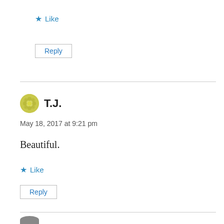Like
Reply
T.J.
May 18, 2017 at 9:21 pm
Beautiful.
Like
Reply